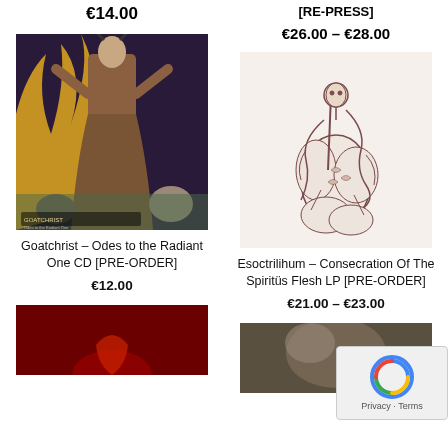€14.00
€26.00 – €28.00
[Figure (photo): Goatchrist album cover – Odes to the Radiant One, showing a robed figure with raised arms against a colorful background]
Goatchrist – Odes to the Radiant One CD [PRE-ORDER]
€12.00
[Figure (photo): Esoctrilihum album cover – Consecration Of The Spiritus Flesh LP, showing a detailed pen-and-ink illustration of mythological creatures on white background]
Esoctrilihum – Consecration Of The Spiritus Flesh LP [PRE-ORDER]
€21.00 – €23.00
[Figure (photo): Partially visible album cover with red/dark background at bottom left]
[Figure (photo): Partially visible album cover at bottom right]